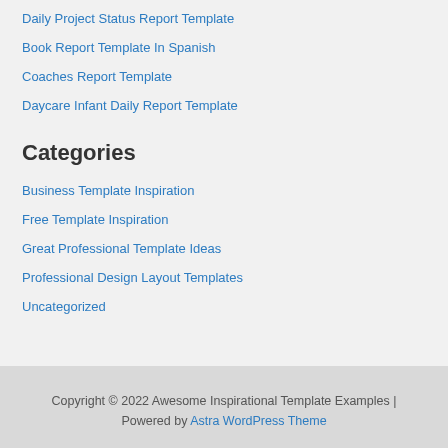Daily Project Status Report Template
Book Report Template In Spanish
Coaches Report Template
Daycare Infant Daily Report Template
Categories
Business Template Inspiration
Free Template Inspiration
Great Professional Template Ideas
Professional Design Layout Templates
Uncategorized
Copyright © 2022 Awesome Inspirational Template Examples | Powered by Astra WordPress Theme